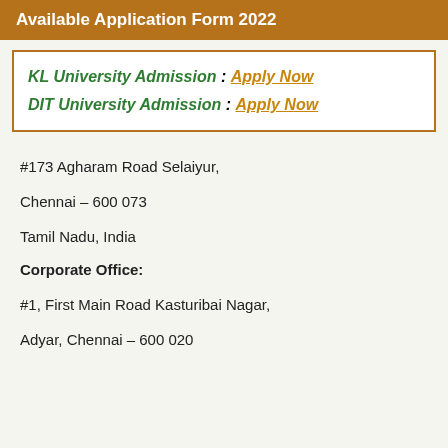Available Application Form 2022
KL University Admission : Apply Now
DIT University Admission : Apply Now
#173 Agharam Road Selaiyur,
Chennai – 600 073
Tamil Nadu, India
Corporate Office:
#1, First Main Road Kasturibai Nagar,
Adyar, Chennai – 600 020